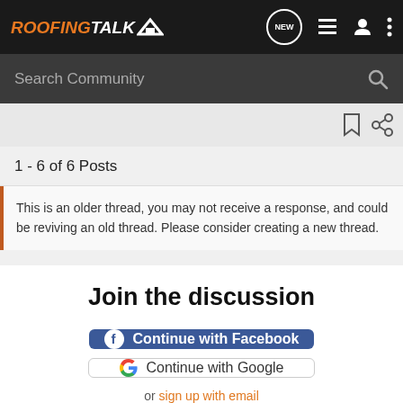RoofingTalk
Search Community
1 - 6 of 6 Posts
This is an older thread, you may not receive a response, and could be reviving an old thread. Please consider creating a new thread.
Join the discussion
Continue with Facebook
Continue with Google
or sign up with email